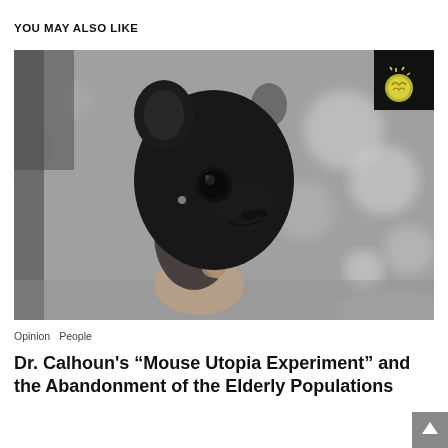YOU MAY ALSO LIKE
[Figure (photo): Black and white photo of a person in a floral dress holding a small animal (lamb or mouse-like creature) with an oversized dark animal head, set against a blurred outdoor background. A brain/thought logo badge appears in the top right corner of the image.]
Opinion  People
Dr. Calhoun’s “Mouse Utopia Experiment” and the Abandonment of the Elderly Populations